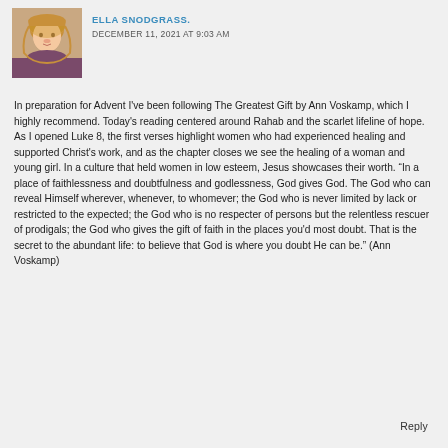[Figure (photo): Profile photo of Ella Snodgrass, a woman with blonde hair]
ELLA SNODGRASS.
DECEMBER 11, 2021 AT 9:03 AM
In preparation for Advent I've been following The Greatest Gift by Ann Voskamp, which I highly recommend. Today's reading centered around Rahab and the scarlet lifeline of hope. As I opened Luke 8, the first verses highlight women who had experienced healing and supported Christ's work, and as the chapter closes we see the healing of a woman and young girl. In a culture that held women in low esteem, Jesus showcases their worth. “In a place of faithlessness and doubtfulness and godlessness, God gives God. The God who can reveal Himself wherever, whenever, to whomever; the God who is never limited by lack or restricted to the expected; the God who is no respecter of persons but the relentless rescuer of prodigals; the God who gives the gift of faith in the places you’d most doubt. That is the secret to the abundant life: to believe that God is where you doubt He can be.” (Ann Voskamp)
Reply